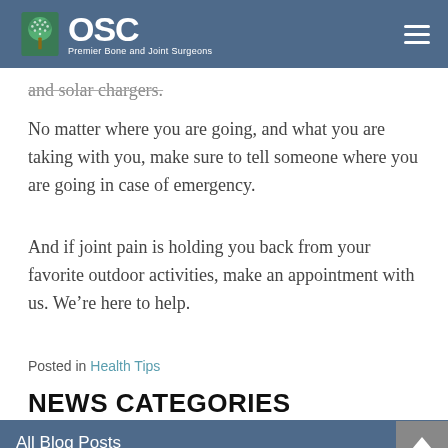OSC Premier Bone and Joint Surgeons
and solar chargers.
No matter where you are going, and what you are taking with you, make sure to tell someone where you are going in case of emergency.
And if joint pain is holding you back from your favorite outdoor activities, make an appointment with us. We’re here to help.
Posted in Health Tips
NEWS CATEGORIES
All Blog Posts